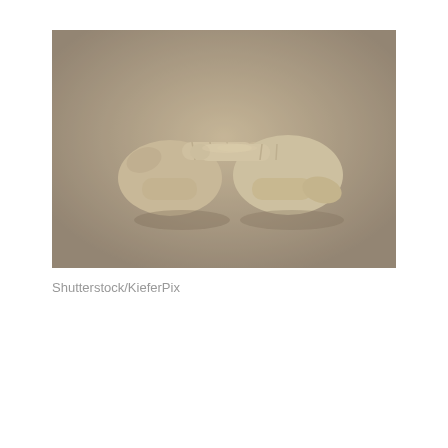[Figure (photo): Sepia-toned photograph of two hands from opposite sides pointing index fingers at each other against a neutral beige/grey background.]
Shutterstock/KieferPix